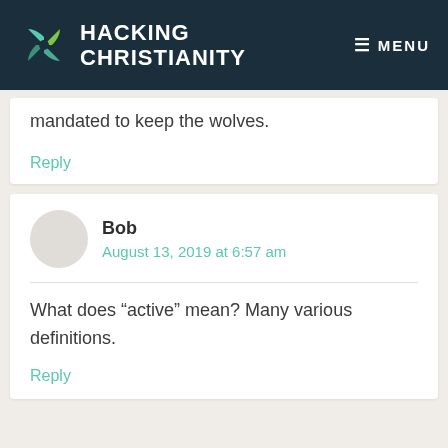HACKING CHRISTIANITY — MENU
mandated to keep the wolves.
Reply
Bob
August 13, 2019 at 6:57 am
What does “active” mean? Many various definitions.
Reply